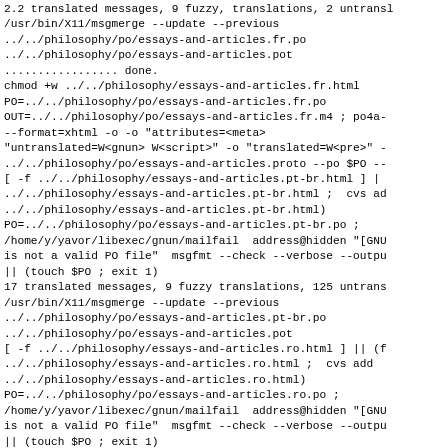/usr/bin/X11/msgmerge --update --previous
../../philosophy/po/essays-and-articles.fr.po
../../philosophy/po/essays-and-articles.pot
................. done.
chmod +w ../../philosophy/essays-and-articles.fr.html
PO=../../philosophy/po/essays-and-articles.fr.po
OUT=../../philosophy/po/essays-and-articles.fr.m4 ; po4a-
--format=xhtml -o ontagerror=silent -o "attributes=<meta>
"untranslated=W<gnun> W<script>" -o "translated=W<pre>" -
../../philosophy/po/essays-and-articles.proto --po $PO --
[ -f ../../philosophy/essays-and-articles.pt-br.html ] |
../../philosophy/essays-and-articles.pt-br.html ;  cvs ad
../../philosophy/essays-and-articles.pt-br.html)
PO=../../philosophy/po/essays-and-articles.pt-br.po ;
/home/y/yavor/libexec/gnun/mailfail  address@hidden "[GNU
is not a valid PO file"  msgfmt --check --verbose --outpu
|| (touch $PO ; exit 1)
17 translated messages, 9 fuzzy translations, 125 untrans
/usr/bin/X11/msgmerge --update --previous
../../philosophy/po/essays-and-articles.pt-br.po
../../philosophy/po/essays-and-articles.pot
[ -f ../../philosophy/essays-and-articles.ro.html ] || (f
../../philosophy/essays-and-articles.ro.html ;  cvs add
../../philosophy/essays-and-articles.ro.html)
PO=../../philosophy/po/essays-and-articles.ro.po ;
/home/y/yavor/libexec/gnun/mailfail  address@hidden "[GNU
is not a valid PO file"  msgfmt --check --verbose --outpu
|| (touch $PO ; exit 1)
................. done.
chmod +w ../../philosophy/essays-and-articles.pt-br.html